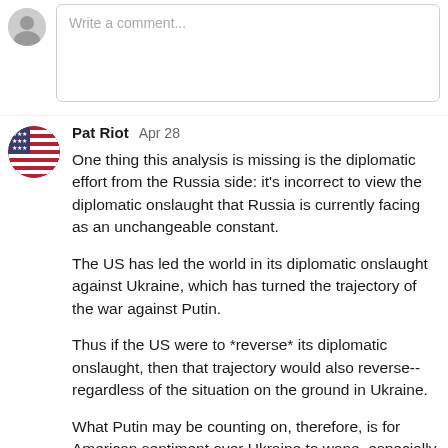[Figure (other): Comment input box with small grey avatar and placeholder text 'Write a comment...']
Pat Riot  Apr 28

One thing this analysis is missing is the diplomatic effort from the Russia side: it's incorrect to view the diplomatic onslaught that Russia is currently facing as an unchangeable constant.

The US has led the world in its diplomatic onslaught against Ukraine, which has turned the trajectory of the war against Putin.

Thus if the US were to *reverse* its diplomatic onslaught, then that trajectory would also reverse--regardless of the situation on the ground in Ukraine.

What Putin may be counting on, therefore, is for American sentiment over Ukraine to wane, especially